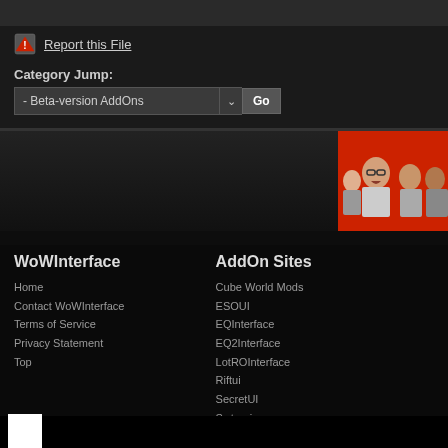Report this File
Category Jump:
- Beta-version AddOns   Go
[Figure (photo): Advertisement image showing group of people on red background]
WoWInterface
Home
Contact WoWInterface
Terms of Service
Privacy Statement
Top
AddOn Sites
Cube World Mods
ESOUI
EQInterface
EQ2Interface
LotROInterface
Riftui
SecretUI
Swtorui
WoWInterface